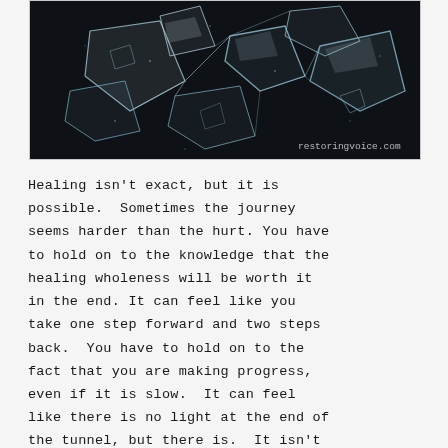[Figure (photo): Dark background photo of shattered broken glass fragments with a watermark reading restoringvoice.com in the bottom right corner]
Healing isn't exact, but it is possible.  Sometimes the journey seems harder than the hurt. You have to hold on to the knowledge that the healing wholeness will be worth it in the end. It can feel like you take one step forward and two steps back.  You have to hold on to the fact that you are making progress, even if it is slow.  It can feel like there is no light at the end of the tunnel, but there is.  It isn't